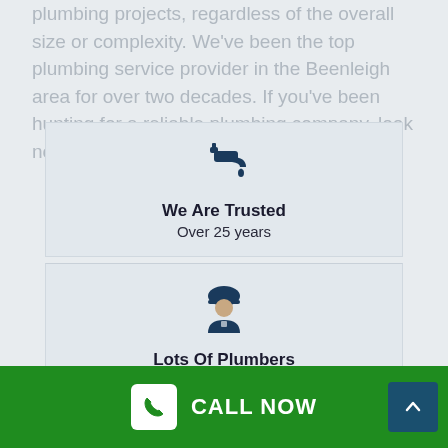plumbing projects, regardless of the overall size or complexity. We've been the top plumbing service provider in the Beenleigh area for over two decades. If you've been hunting for a reliable plumbing company, look no further than .
[Figure (illustration): Faucet/tap icon in dark navy blue, with a water drop, representing plumbing services]
We Are Trusted
Over 25 years
[Figure (illustration): Worker/plumber icon in dark navy blue wearing a hard hat]
Lots Of Plumbers
More then 5
CALL NOW